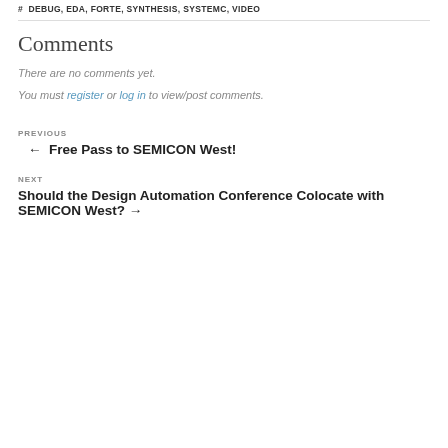# DEBUG, EDA, FORTE, SYNTHESIS, SYSTEMC, VIDEO
Comments
There are no comments yet.
You must register or log in to view/post comments.
PREVIOUS
← Free Pass to SEMICON West!
NEXT
Should the Design Automation Conference Colocate with SEMICON West? →